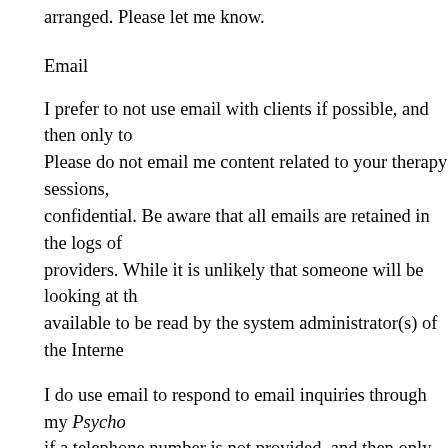arranged. Please let me know.
Email
I prefer to not use email with clients if possible, and then only to Please do not email me content related to your therapy sessions, confidential. Be aware that all emails are retained in the logs of providers. While it is unlikely that someone will be looking at th available to be read by the system administrator(s) of the Intern
I do use email to respond to email inquiries through my Psycho if a telephone number is not provided, and then only to address
If you need to contact me between sessions, the best way to do s wrg@counselor.wrgoodenough.com should be a last resort and t issues such as changing appointment times or late notification o
Client Portal